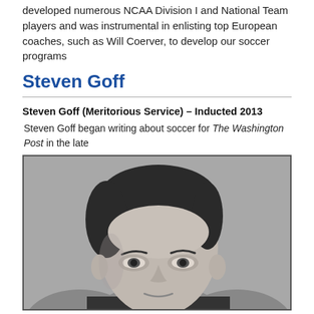developed numerous NCAA Division I and National Team players and was instrumental in enlisting top European coaches, such as Will Coerver, to develop our soccer programs
Steven Goff
Steven Goff (Meritorious Service) – Inducted 2013
Steven Goff began writing about soccer for The Washington Post in the late
[Figure (photo): Black and white headshot portrait of Steven Goff, a man with dark hair, shown from shoulders up against a gray background.]